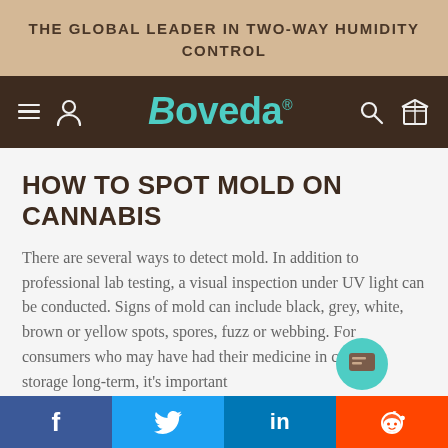THE GLOBAL LEADER IN TWO-WAY HUMIDITY CONTROL
[Figure (logo): Boveda logo in teal/turquoise on dark brown navigation bar with hamburger menu, person icon, search icon, and box icon]
HOW TO SPOT MOLD ON CANNABIS
There are several ways to detect mold. In addition to professional lab testing, a visual inspection under UV light can be conducted. Signs of mold can include black, grey, white, brown or yellow spots, spores, fuzz or webbing. For consumers who may have had their medicine in cannabis storage long-term, it's important
f  t (Twitter bird)  in  reddit alien icon